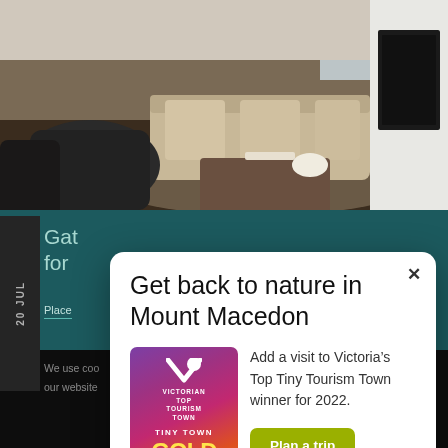[Figure (photo): Interior living room with beige sofa, dark leather armchair, wicker coffee table, and fireplace on the right wall.]
20 JUL
Gat... for ...
Place...
We use coo... our website...
Get back to nature in Mount Macedon
[Figure (logo): Victorian Top Tourism Town — Tiny Town Gold Winner 2022 award badge with gradient purple/orange background]
Add a visit to Victoria’s Top Tiny Tourism Town winner for 2022.
Plan a trip